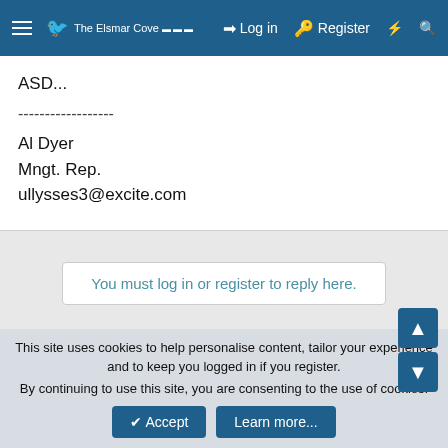The Elsmar Cove | Log in | Register
ASD...
------------------
Al Dyer
Mngt. Rep.
ullysses3@excite.com
You must log in or register to reply here.
Similar threads
Robust internal audit program
This site uses cookies to help personalise content, tailor your experience and to keep you logged in if you register.
By continuing to use this site, you are consenting to the use of cookies.